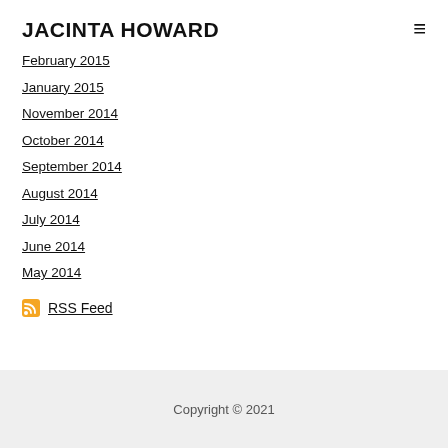JACINTA HOWARD
February 2015
January 2015
November 2014
October 2014
September 2014
August 2014
July 2014
June 2014
May 2014
RSS Feed
Copyright © 2021